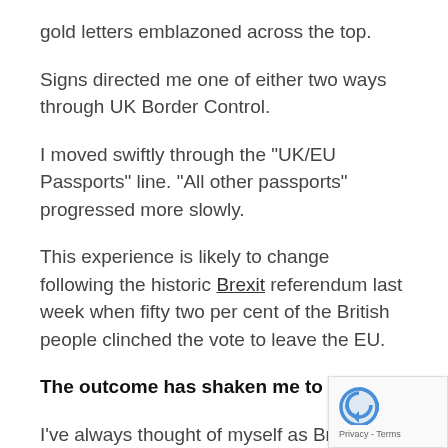gold letters emblazoned across the top.
Signs directed me one of either two ways through UK Border Control.
I moved swiftly through the "UK/EU Passports" line. "All other passports" progressed more slowly.
This experience is likely to change following the historic Brexit referendum last week when fifty two per cent of the British people clinched the vote to leave the EU.
The outcome has shaken me to the core.
I've always thought of myself as British, Europ…